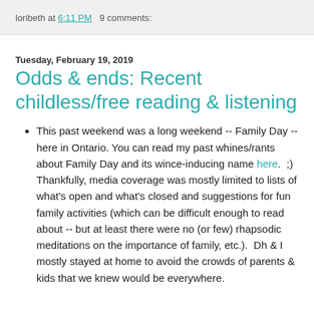loribeth at 6:11 PM   9 comments:
Tuesday, February 19, 2019
Odds & ends: Recent childless/free reading & listening
This past weekend was a long weekend -- Family Day -- here in Ontario. You can read my past whines/rants about Family Day and its wince-inducing name here.  ;)  Thankfully, media coverage was mostly limited to lists of what's open and what's closed and suggestions for fun family activities (which can be difficult enough to read about -- but at least there were no (or few) rhapsodic meditations on the importance of family, etc.).  Dh & I mostly stayed at home to avoid the crowds of parents & kids that we knew would be everywhere.